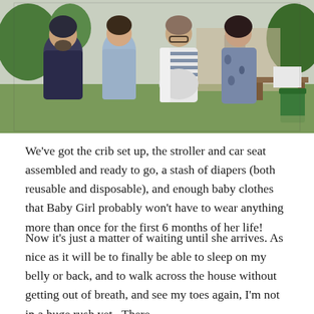[Figure (photo): Four people posing together outdoors in a park. From left to right: a heavyset man in a dark t-shirt with a beard, a young man in a light blue button-up shirt, a pregnant woman in a striped top with a white cardigan, and a young woman in a floral dress. Park tables and trees visible in background.]
We've got the crib set up, the stroller and car seat assembled and ready to go, a stash of diapers (both reusable and disposable), and enough baby clothes that Baby Girl probably won't have to wear anything more than once for the first 6 months of her life!
Now it's just a matter of waiting until she arrives. As nice as it will be to finally be able to sleep on my belly or back, and to walk across the house without getting out of breath, and see my toes again, I'm not in a huge rush yet.  There